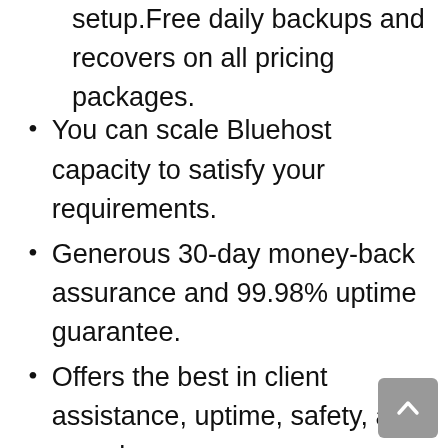setup.Free daily backups and recovers on all pricing packages.
You can scale Bluehost capacity to satisfy your requirements.
Generous 30-day money-back assurance and 99.98% uptime guarantee.
Offers the best in client assistance, uptime, safety, and speeds.
The services and attributes fit both new as well as experienced website proprietors.
Cloudflare is part of the plan free of cost as well as Bluehost Staging platform is readily available.
The hosting's user interface is stocked with a lot of free-and-easy 1-click install...